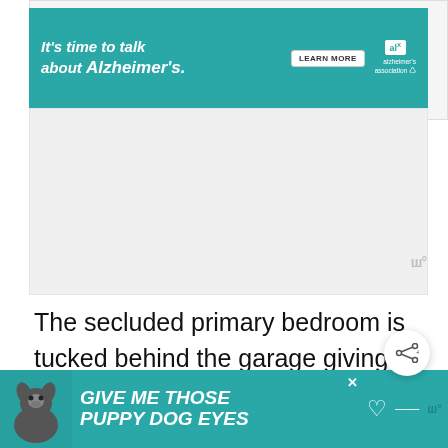[Figure (screenshot): Advertisement banner for Alzheimer's Association with teal background. Text reads 'It's time to talk about Alzheimer's.' with a 'LEARN MORE' button and Alzheimer's Association logo.]
The secluded primary bedroom is tucked behind the garage giving you the utmost privacy. It comes with a 5-fixture ensuite and a sizable walk-in closet that conveniently connects to the laundry room.
[Figure (screenshot): Advertisement banner at bottom with teal background. Dog image on left. Text reads 'GIVE ME THOSE PUPPY DOG EYES' in bold white italic font.]